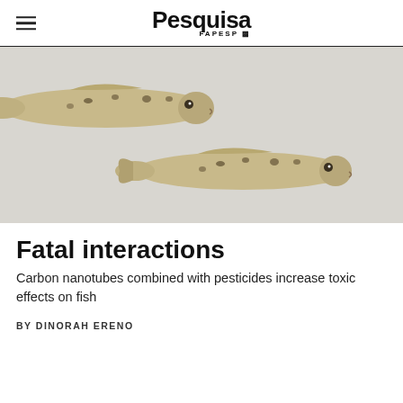Pesquisa FAPESP
[Figure (photo): Two small fish (likely juvenile freshwater fish) photographed against a light gray/white background. The fish are pale/beige colored with dark spots along their bodies. One fish is in the upper left, the other is in the center-right of the frame.]
Fatal interactions
Carbon nanotubes combined with pesticides increase toxic effects on fish
BY DINORAH ERENO